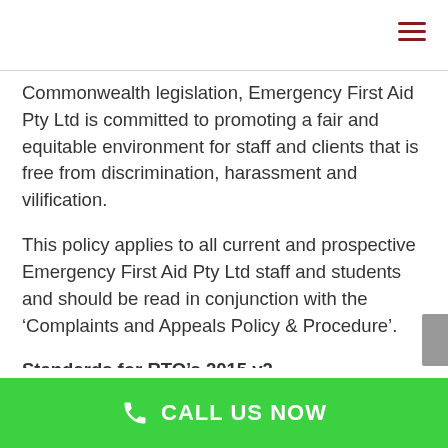Commonwealth legislation, Emergency First Aid Pty Ltd is committed to promoting a fair and equitable environment for staff and clients that is free from discrimination, harassment and vilification.
This policy applies to all current and prospective Emergency First Aid Pty Ltd staff and students and should be read in conjunction with the ‘Complaints and Appeals Policy & Procedure’.
Standards for RTO’s 2015.v2
Chapter 6 – Regulatory Compliance &